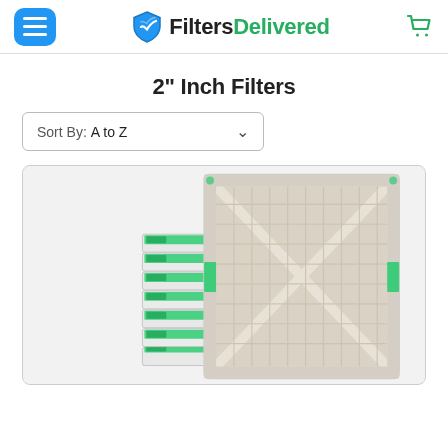FiltersDelivered — navigation header with hamburger menu and cart icon
2" Inch Filters
Sort By: A to Z
[Figure (photo): Stack of GlideSeries air filters showing multiple filters packed together alongside a large single filter panel with cross-hatch pleated media visible from the front.]